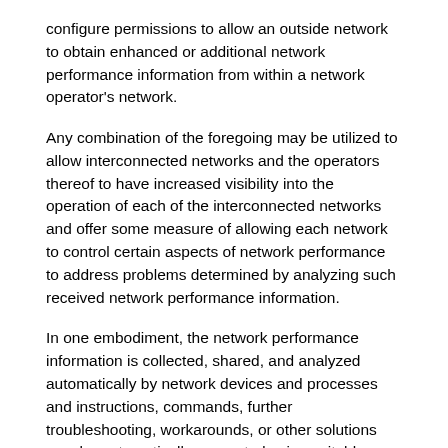configure permissions to allow an outside network to obtain enhanced or additional network performance information from within a network operator's network.
Any combination of the foregoing may be utilized to allow interconnected networks and the operators thereof to have increased visibility into the operation of each of the interconnected networks and offer some measure of allowing each network to control certain aspects of network performance to address problems determined by analyzing such received network performance information.
In one embodiment, the network performance information is collected, shared, and analyzed automatically by network devices and processes and instructions, commands, further troubleshooting, workarounds, or other solutions may be automatically generated using suitable ruled-based engines or algorithms to reroute traffic, throttle or block traffic, change the configuration of network devices, or implement any other change in one or more networks to resolve problems associated with the interconnection of data packets across such networks. Different schemes, automated processes, rules, and